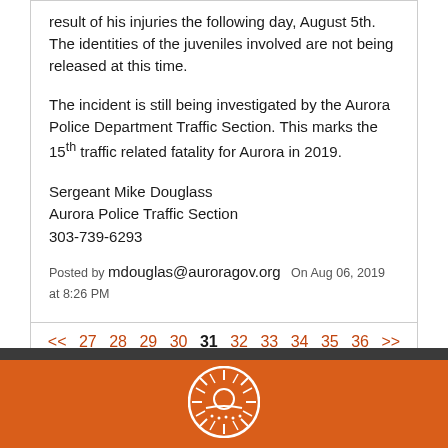result of his injuries the following day, August 5th. The identities of the juveniles involved are not being released at this time.
The incident is still being investigated by the Aurora Police Department Traffic Section. This marks the 15th traffic related fatality for Aurora in 2019.
Sergeant Mike Douglass
Aurora Police Traffic Section
303-739-6293
Posted by mdouglas@auroragov.org  On Aug 06, 2019 at 8:26 PM
<< 27 28 29 30 31 32 33 34 35 36 >>
[Figure (logo): City of Aurora sun logo, white on orange circle background]